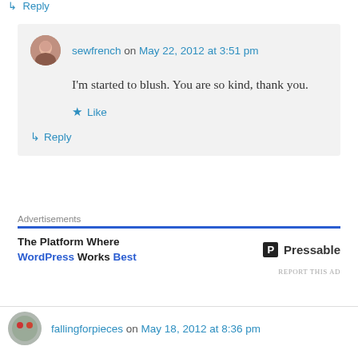↳ Reply
sewfrench on May 22, 2012 at 3:51 pm
I'm started to blush. You are so kind, thank you.
★ Like
↳ Reply
Advertisements
The Platform Where WordPress Works Best
Pressable
REPORT THIS AD
fallingforpieces on May 18, 2012 at 8:36 pm
Great secret weapon, I could really use an in house graphic designer sometimes! And the quilt